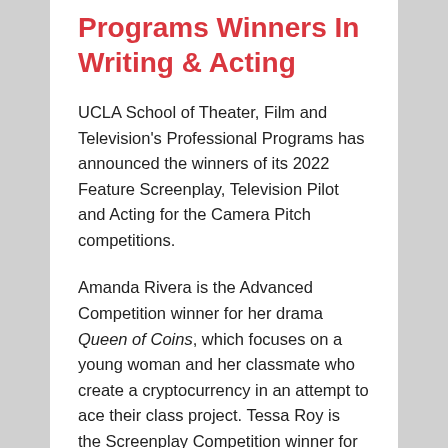Programs Winners In Writing & Acting
UCLA School of Theater, Film and Television's Professional Programs has announced the winners of its 2022 Feature Screenplay, Television Pilot and Acting for the Camera Pitch competitions.
Amanda Rivera is the Advanced Competition winner for her drama Queen of Coins, which focuses on a young woman and her classmate who create a cryptocurrency in an attempt to ace their class project. Tessa Roy is the Screenplay Competition winner for her horror script Chokecherry, about the travails of a